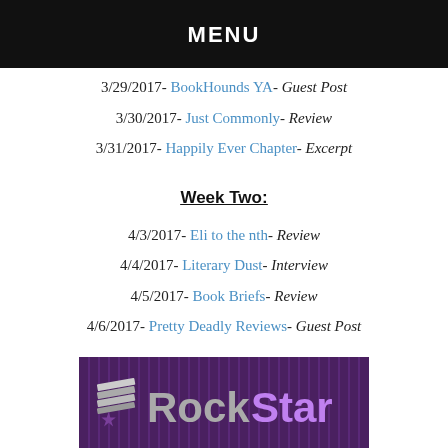MENU
3/29/2017- BookHounds YA- Guest Post
3/30/2017- Just Commonly- Review
3/31/2017- Happily Ever Chapter- Excerpt
Week Two:
4/3/2017- Eli to the nth- Review
4/4/2017- Literary Dust- Interview
4/5/2017- Book Briefs- Review
4/6/2017- Pretty Deadly Reviews- Guest Post
4/7/2017- Savings in Seconds- Review
[Figure (logo): RockStar Book Tours logo on purple striped background with stacked books icon and star]